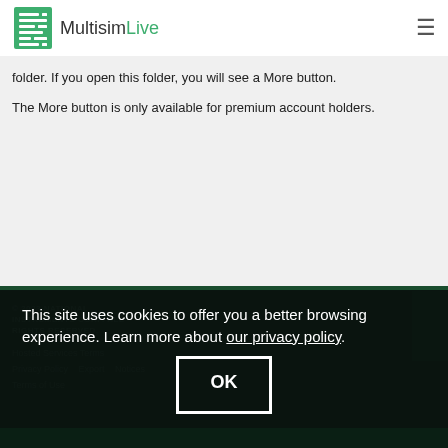MultisimLive
folder. If you open this folder, you will see a More button.
The More button is only available for premium account holders.
© 2023 NATIONAL INSTRUMENTS CORP. ALL RIGHTS RESERVED.
Hosted Services Terms
Privacy Policy   Export   Notices
Terms of Use
This site uses cookies to offer you a better browsing experience. Learn more about our privacy policy.